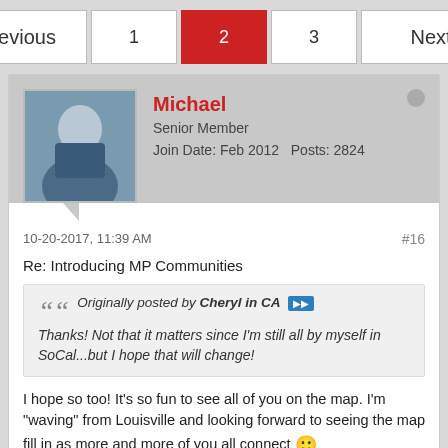Previous 1 2 3 Next
Michael
Senior Member
Join Date: Feb 2012   Posts: 2824
10-20-2017, 11:39 AM
#16
Re: Introducing MP Communities
Originally posted by Cheryl in CA
Thanks! Not that it matters since I'm still all by myself in SoCal...but I hope that will change!
I hope so too! It's so fun to see all of you on the map. I'm "waving" from Louisville and looking forward to seeing the map fill in as more and more of you all connect 🙂
Cheryl in CA